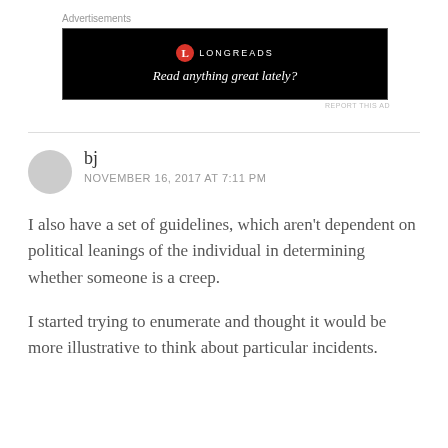Advertisements
[Figure (other): Longreads advertisement banner with black background reading 'Read anything great lately?']
REPORT THIS AD
bj
NOVEMBER 16, 2017 AT 7:11 PM
I also have a set of guidelines, which aren't dependent on political leanings of the individual in determining whether someone is a creep.
I started trying to enumerate and thought it would be more illustrative to think about particular incidents.